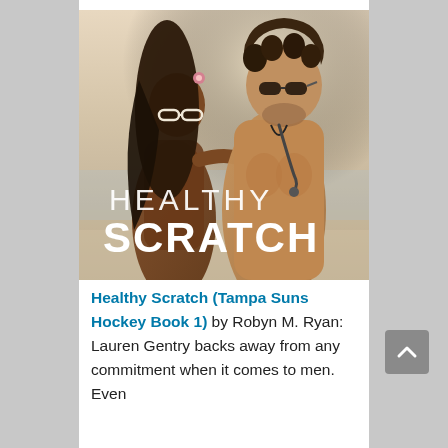[Figure (photo): Book cover for 'Healthy Scratch' showing a man and woman standing back-to-back on a beach. The woman has long dark hair with a flower accessory and white sunglasses; the man is shirtless with curly hair and dark sunglasses. The title 'HEALTHY SCRATCH' appears in white text overlaid on the image.]
Healthy Scratch (Tampa Suns Hockey Book 1) by Robyn M. Ryan: Lauren Gentry backs away from any commitment when it comes to men. Even